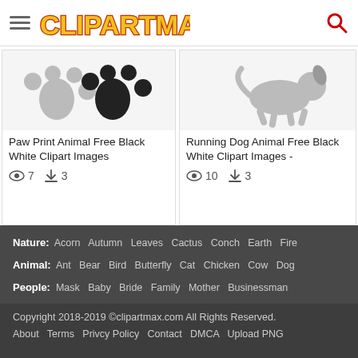CLIPARTMAX
[Figure (illustration): Paw Print Animal Free Black White Clipart Images thumbnail]
Paw Print Animal Free Black White Clipart Images
7 views, 3 downloads
[Figure (illustration): Running Dog Animal Free Black White Clipart Images thumbnail]
Running Dog Animal Free Black White Clipart Images -
10 views, 3 downloads
Nature: Acorn  Autumn  Leaves  Cactus  Conch  Earth  Fire
Animal: Ant  Bear  Bird  Butterfly  Cat  Chicken  Cow  Dog
People: Mask  Baby  Bride  Family  Mother  Businessman
School: Student  Teacher  Book  Classroom  Reading  Pencil
Food: Breakfast  Dairy  Dessert  Drink  Fast Food  Fruit  Meat
Copyright 2018-2019 ©clipartmax.com All Rights Reserved.
About  Terms  Privcy Policy  Contact  DMCA  Upload PNG